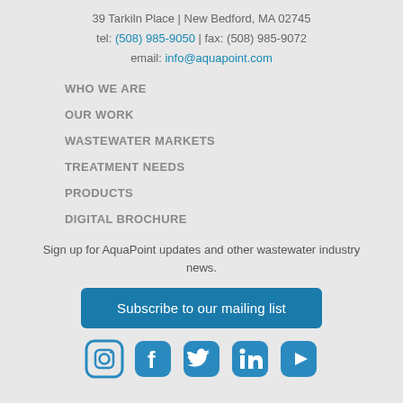39 Tarkiln Place | New Bedford, MA 02745
tel: (508) 985-9050 | fax: (508) 985-9072
email: info@aquapoint.com
WHO WE ARE
OUR WORK
WASTEWATER MARKETS
TREATMENT NEEDS
PRODUCTS
DIGITAL BROCHURE
Sign up for AquaPoint updates and other wastewater industry news.
Subscribe to our mailing list
[Figure (other): Social media icons: Instagram, Facebook, Twitter, LinkedIn, YouTube]